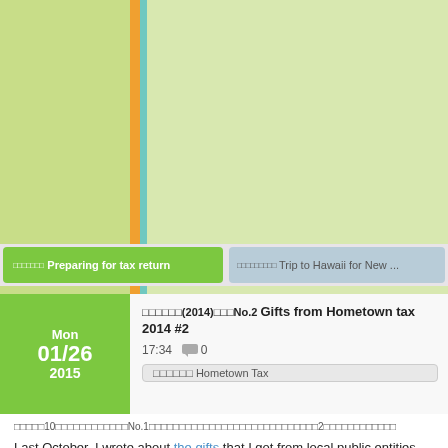[Figure (illustration): Top banner area with green and light green background, orange and teal vertical stripes on the left side]
□□□□□□□ Preparing for tax return
□□□□□□□□□ Trip to Hawaii for New ...
□□□□□□(2014)□□□No.2 Gifts from Hometown tax 2014 #2
17:34  □ 0
□□□□□□ Hometown Tax
□□□□□10□□□□□□□□□□□□No.1□□□□□□□□□□□□□□□□□□□□□□□□□□□□2□□□□□□□□□□□□□□
Last October, I wrote about the gifts that I got from local public entities which I donated to via the Hometown Tax System, and after then, I received some more gifts from other local public entities. Today I would like to write about these gifts as a sequel.
□□□□□□□□□□□□□□□□□7.5□□□□□□□□□□□□□□□□□□□□□□□□□□□□14□□□ □ □□□□□□□□□□□□□□□□□□□□□□□□□□□□□□□□ □
First, I received 14 big and juicy Shinko-nashi (a kind of pear) (about 7.5